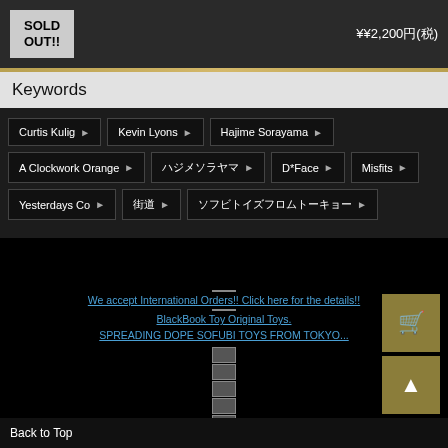SOLD OUT!!
¥¥2,200円(税)
Keywords
Curtis Kulig ▶
Kevin Lyons ▶
Hajime Sorayama ▶
A Clockwork Orange ▶
ハジメソラヤマ ▶
D*Face ▶
Misfits ▶
Yesterdays Co ▶
街道 ▶
ソフビトイズフロムトーキョー ▶
We accept International Orders!! Click here for the details!!
BlackBook Toy Original Toys.
SPREADING DOPE SOFUBI TOYS FROM TOKYO...
ABOUT US | WHOLESALE | TOY PRODUCTION | Free Sticker | BBT Point | Pick Up at BBT
Back to Top